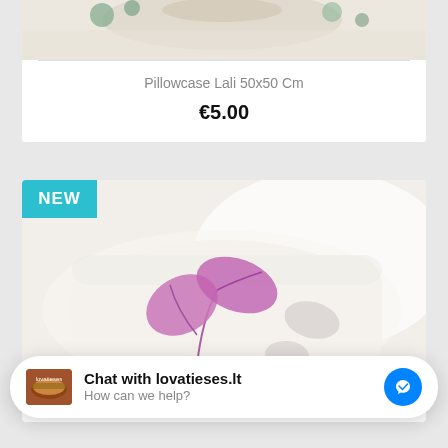[Figure (photo): Partial top view of a floral pillowcase product image (cropped)]
Pillowcase Lali 50x50 Cm
€5.00
[Figure (photo): White pillow with purple leaf/botanical embroidery design on a bed, labeled NEW]
Pillow Lujan C.9 50x70 Cm
Chat with lovatieses.lt
How can we help?